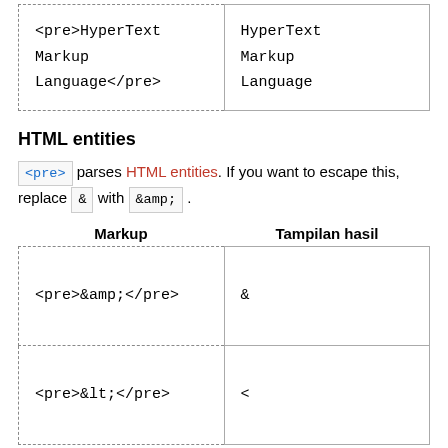| Markup | Tampilan hasil |
| --- | --- |
| <pre>HyperText Markup Language</pre> | HyperText Markup Language |
HTML entities
<pre> parses HTML entities. If you want to escape this, replace & with &amp; .
| Markup | Tampilan hasil |
| --- | --- |
| <pre>&amp;</pre> | & |
| <pre>&lt;</pre> | < |